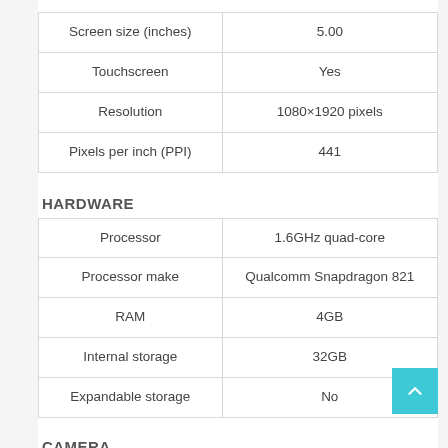|  |  |
| --- | --- |
| Screen size (inches) | 5.00 |
| Touchscreen | Yes |
| Resolution | 1080×1920 pixels |
| Pixels per inch (PPI) | 441 |
HARDWARE
|  |  |
| --- | --- |
| Processor | 1.6GHz quad-core |
| Processor make | Qualcomm Snapdragon 821 |
| RAM | 4GB |
| Internal storage | 32GB |
| Expandable storage | No |
CAMERA
|  |  |
| --- | --- |
| … | … |